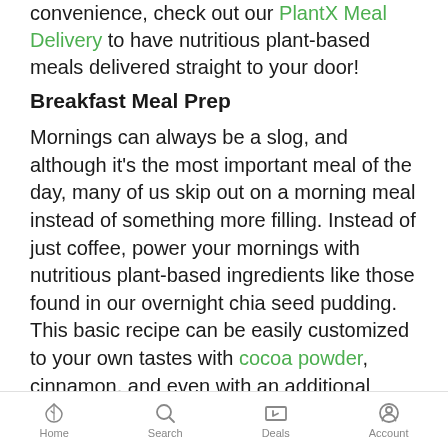convenience, check out our PlantX Meal Delivery to have nutritious plant-based meals delivered straight to your door!
Breakfast Meal Prep
Mornings can always be a slog, and although it's the most important meal of the day, many of us skip out on a morning meal instead of something more filling. Instead of just coffee, power your mornings with nutritious plant-based ingredients like those found in our overnight chia seed pudding. This basic recipe can be easily customized to your own tastes with cocoa powder, cinnamon, and even with an additional ingredient of
Home  Search  Deals  Account